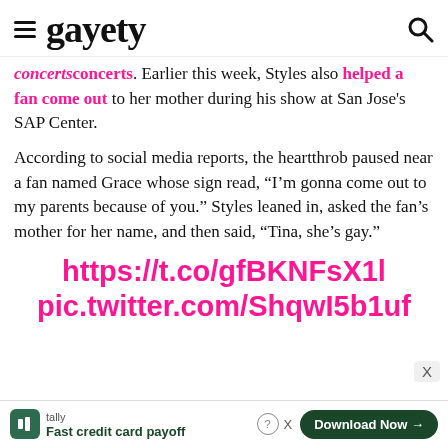gayety
concerts. Earlier this week, Styles also helped a fan come out to her mother during his show at San Jose's SAP Center.
According to social media reports, the heartthrob paused near a fan named Grace whose sign read, “I’m gonna come out to my parents because of you.” Styles leaned in, asked the fan’s mother for her name, and then said, “Tina, she’s gay.”
https://t.co/gfBKNFsX1l pic.twitter.com/ShqwI5b1uf
tally Fast credit card payoff Download Now